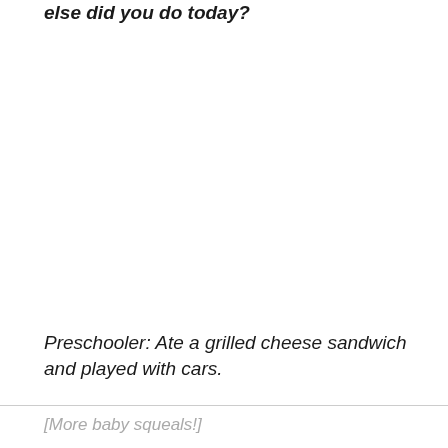else did you do today?
Preschooler: Ate a grilled cheese sandwich and played with cars.
[More baby squeals!]